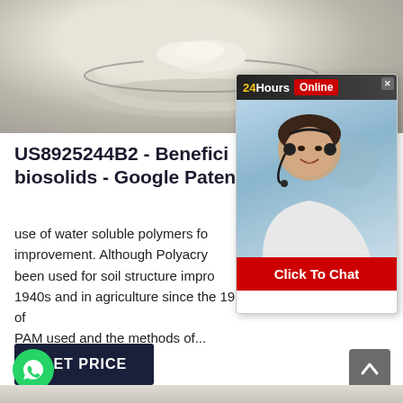[Figure (photo): A glass bowl containing white powdery substance (polymer powder) viewed from above on a white background]
US8925244B2 - Benefici... biosolids - Google Patent...
use of water soluble polymers fo... improvement. Although Polyacry... been used for soil structure impro... 1940s and in agriculture since the 1950s the kinds of PAM used and the methods of...
[Figure (photo): Chat popup overlay with 24Hours Online banner, customer service representative with headset smiling, and Click To Chat red button]
GET PRICE